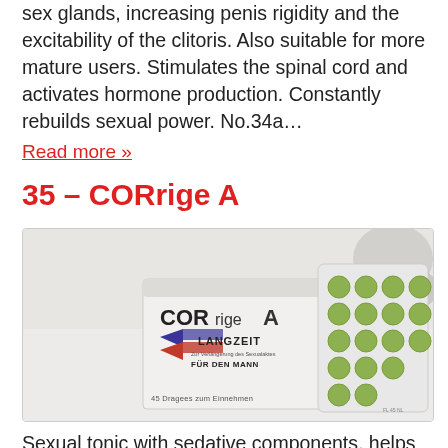sex glands, increasing penis rigidity and the excitability of the clitoris. Also suitable for more mature users. Stimulates the spinal cord and activates hormone production. Constantly rebuilds sexual power. No.34a…
Read more »
35 – CORrige A
[Figure (photo): Product photo showing CORrige A box and blister pack of green tablets. Box reads: COR rige A, LANGZEIT, Zur Verlängerung des Sexualaktes, FÜR DEN MANN, 45 Dragees zum Einnehmen]
Sexual tonic with sedative components, helps prolong